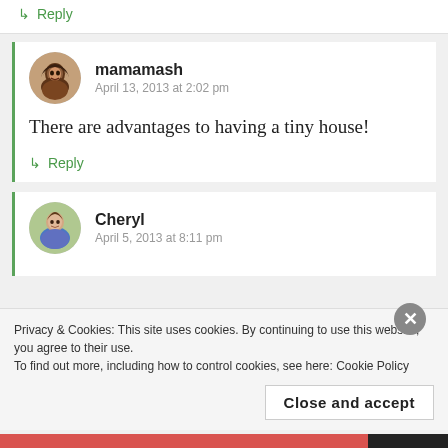↳ Reply
mamamash
April 13, 2013 at 2:02 pm
There are advantages to having a tiny house!
↳ Reply
Cheryl
April 5, 2013 at 8:11 pm
Privacy & Cookies: This site uses cookies. By continuing to use this website, you agree to their use.
To find out more, including how to control cookies, see here: Cookie Policy
Close and accept